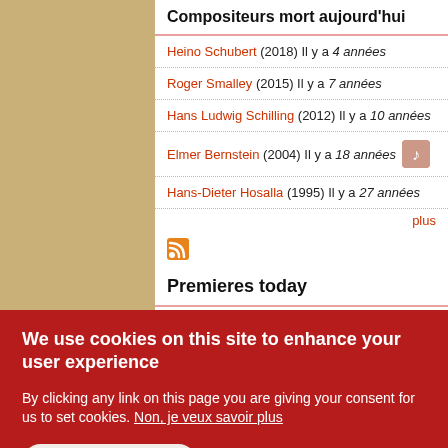Compositeurs mort aujourd'hui
Heino Schubert (2018) Il y a 4 années
Roger Smalley (2015) Il y a 7 années
Hans Ludwig Schilling (2012) Il y a 10 années
Elmer Bernstein (2004) Il y a 18 années
Hans-Dieter Hosalla (1995) Il y a 27 années
plus
Premieres today
Franz Schreker (1912) Il y a 110 années
Premiere of Die Ferne Klang, in Frankfurt am Main, Germany.
We use cookies on this site to enhance your user experience
By clicking any link on this page you are giving your consent for us to set cookies. Non, je veux savoir plus
Accept all cookies